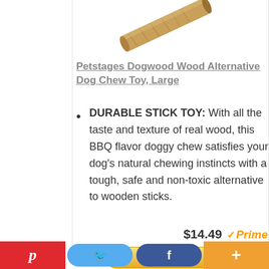[Figure (photo): Partial top view of a wooden dog chew stick toy angled diagonally]
Petstages Dogwood Wood Alternative Dog Chew Toy, Large
DURABLE STICK TOY: With all the taste and texture of real wood, this BBQ flavor doggy chew satisfies your dog's natural chewing instincts with a tough, safe and non-toxic alternative to wooden sticks.
$14.49 Prime
[Figure (screenshot): Buy button (partially visible) and social sharing bar with Pinterest, Twitter, Facebook, and plus buttons]